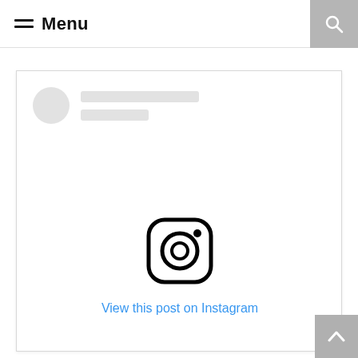Menu
[Figure (screenshot): Instagram embed placeholder card with skeleton loader (circle and line placeholders for profile) and the Instagram camera logo icon in the center, with a 'View this post on Instagram' link below.]
View this post on Instagram